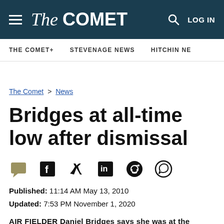The Comet
THE COMET+ | STEVENAGE NEWS | HITCHIN NE…
The Comet > News
Bridges at all-time low after dismissal
Published: 11:14 AM May 13, 2010
Updated: 7:53 PM November 1, 2020
AIR FIELDER Donald Bridges was at the bottom of...